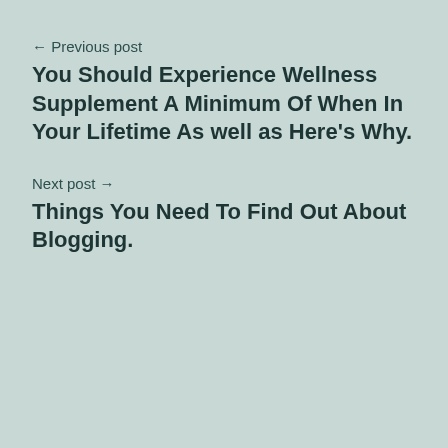← Previous post
You Should Experience Wellness Supplement A Minimum Of When In Your Lifetime As well as Here's Why.
Next post →
Things You Need To Find Out About Blogging.